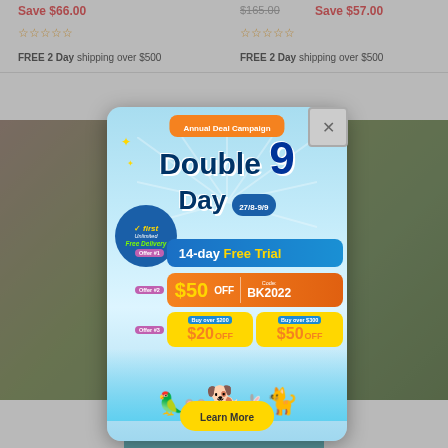Save $66.00
FREE 2 Day shipping over $500
Save $57.00
FREE 2 Day shipping over $500
[Figure (infographic): Annual Deal Campaign Double 9 Day promotional popup with offers: 14-day Free Trial, $50 OFF Code BK2022, $20 OFF on orders over $200, $50 OFF on orders over $300. Features pet images and Learn More button. Date 27/8-9/9.]
WILDEBEEST